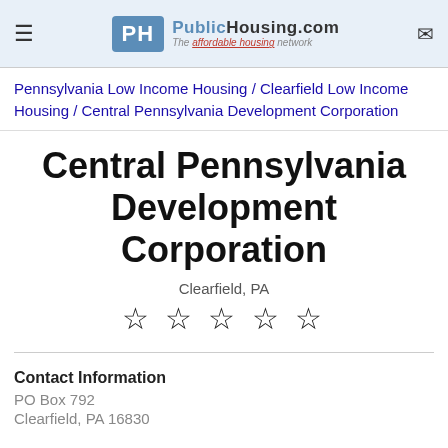PublicHousing.com The affordable housing network
Pennsylvania Low Income Housing / Clearfield Low Income Housing / Central Pennsylvania Development Corporation
Central Pennsylvania Development Corporation
Clearfield, PA
☆☆☆☆☆
Contact Information
PO Box 792
Clearfield, PA 16830